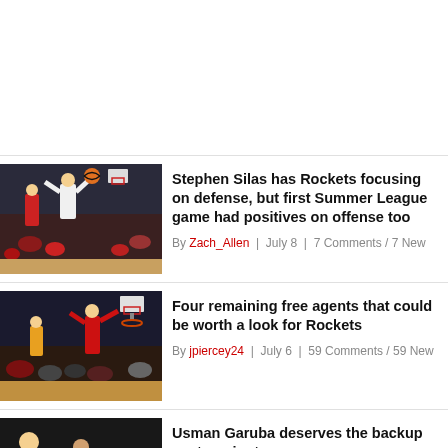Stephen Silas has Rockets focusing on defense, but first Summer League game had positives on offense too
By Zach_Allen | July 8 | 7 Comments / 7 New
Four remaining free agents that could be worth a look for Rockets
By jpiercey24 | July 6 | 59 Comments / 59 New
Usman Garuba deserves the backup center minutes
By Zach_Allen | July 5 | 46 Comments / 46 New